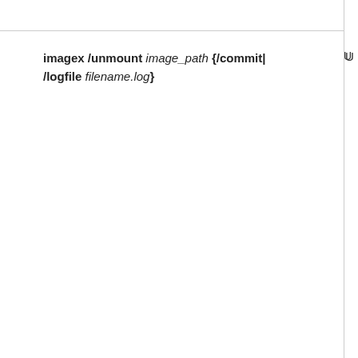imagex /unmount image_path {/commit| /logfile filename.log}